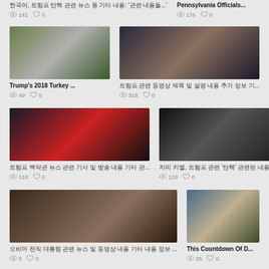한국어 제목 텍스트 (Korean title) ...
Pennsylvania Officials...
👁 141  ♥ 0
👁 176  ♥ 0
[Figure (photo): Trump and Melania with a white turkey at the White House]
[Figure (photo): Multiple exposure of Trump dancing on stage]
Trump's 2018 Turkey ...
Korean text title ...
👁 49  ♥ 0
👁 318  ♥ 0
[Figure (photo): Press briefing room with EXIT sign overlay]
[Figure (photo): Jimmy Kimmel holding up fingers on late night show]
Korean text caption ...
Korean text caption ...
👁 116  ♥ 0
👁 118  ♥ 0
[Figure (photo): Barack Obama portrait]
[Figure (photo): Trump holding weather map document in Oval Office]
Korean text caption ...
This Countdown Of D...
👁 0  ♥ 0
👁 95  ♥ 0